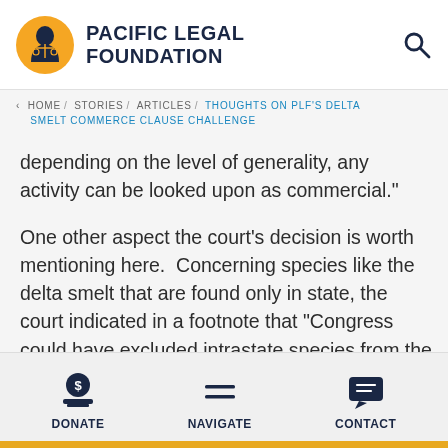PACIFIC LEGAL FOUNDATION
< HOME / STORIES / ARTICLES / THOUGHTS ON PLF'S DELTA SMELT COMMERCE CLAUSE CHALLENGE
depending on the level of generality, any activity can be looked upon as commercial."

One other aspect the court's decision is worth mentioning here.  Concerning species like the delta smelt that are found only in state, the court indicated in a footnote that "Congress could have excluded intrastate species from the scope of the ESA, but it
DONATE  NAVIGATE  CONTACT